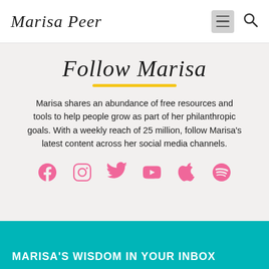Marisa Peer
Follow Marisa
Marisa shares an abundance of free resources and tools to help people grow as part of her philanthropic goals. With a weekly reach of 25 million, follow Marisa's latest content across her social media channels.
[Figure (illustration): Row of six pink social media icons: Facebook, Instagram, Twitter, YouTube, Apple, Spotify]
MARISA'S WISDOM IN YOUR INBOX